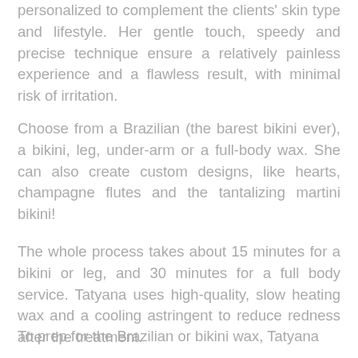personalized to complement the clients' skin type and lifestyle. Her gentle touch, speedy and precise technique ensure a relatively painless experience and a flawless result, with minimal risk of irritation.
Choose from a Brazilian (the barest bikini ever), a bikini, leg, under-arm or a full-body wax. She can also create custom designs, like hearts, champagne flutes and the tantalizing martini bikini!
The whole process takes about 15 minutes for a bikini or leg, and 30 minutes for a full body service. Tatyana uses high-quality, slow heating wax and a cooling astringent to reduce redness after the treatment.
To prep for the Brazilian or bikini wax, Tatyana